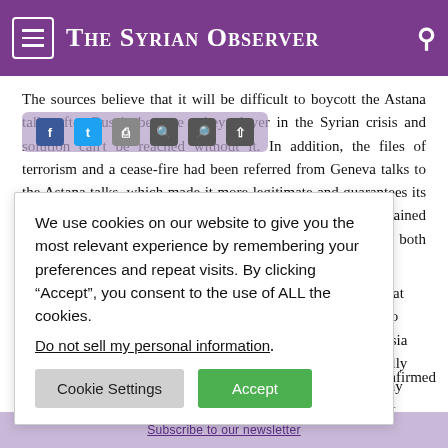The Syrian Observer
The sources believe that it will be difficult to boycott the Astana talks after Russia became a key player in the Syrian crisis and solution can't be reached without it. In addition, the files of terrorism and a cease-fire had been referred from Geneva talks to the Astana talks, which made it more legitimate and guarantees its continuity. The sources confirmed that if Moscow remained steadfast on its policy, then the opposition will demand that both files be returned to
We use cookies on our website to give you the most relevant experience by remembering your preferences and repeat visits. By clicking “Accept”, you consent to the use of ALL the cookies.
Do not sell my personal information.
Cookie Settings | Accept
Asharq al-Awsat bout whether to es believe Russia duties, especially es think that any ions can reflect
id there is no disagreement and all parties are unified. He confirmed that the